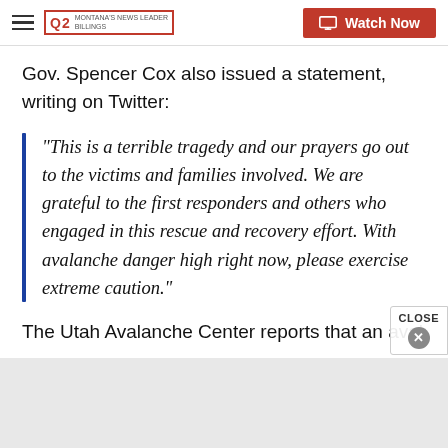Q2 MONTANA'S NEWS LEADER | Watch Now
Gov. Spencer Cox also issued a statement, writing on Twitter:
"This is a terrible tragedy and our prayers go out to the victims and families involved. We are grateful to the first responders and others who engaged in this rescue and recovery effort. With avalanche danger high right now, please exercise extreme caution."
The Utah Avalanche Center reports that an avalanc